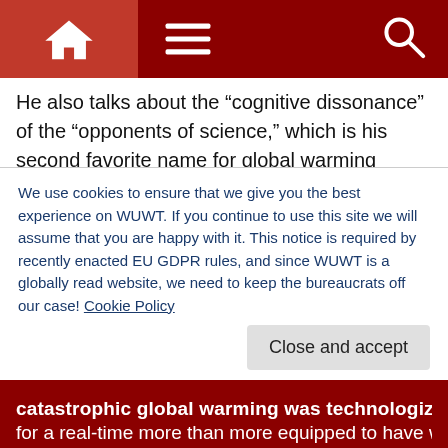WUWT website header with home, menu, and search icons
He also talks about the “cognitive dissonance” of the “opponents of science,” which is his second favorite name for global warming skeptics, by telling the story of Dorothy Martin:
“She convinced her followers to resign from their jobs and sell their possessions because a great flood was to engulf the earth on 21 December 1954.” When the flood didn’t come, she told them the aliens had changed their minds. “Her followers believed her. They had given up so much for their
We use cookies to ensure that we give you the best experience on WUWT. If you continue to use this site we will assume that you are happy with it. This notice is required by recently enacted EU GDPR rules, and since WUWT is a globally read website, we need to keep the bureaucrats off our case! Cookie Policy
Close and accept
catastrophic global warming was technologized. He need for a real-time more than more equipped to have with it